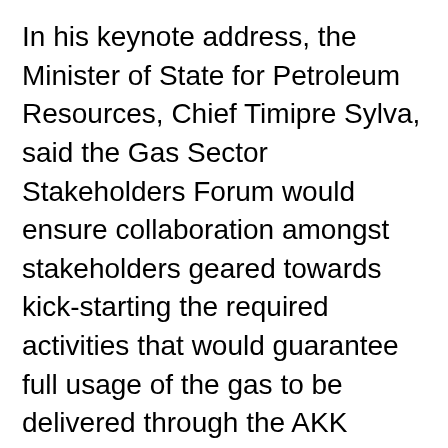In his keynote address, the Minister of State for Petroleum Resources, Chief Timipre Sylva, said the Gas Sector Stakeholders Forum would ensure collaboration amongst stakeholders geared towards kick-starting the required activities that would guarantee full usage of the gas to be delivered through the AKK pipeline when completed.
“Today’s event reinforces our commitment to realizing the inherent potentials of gas usage as a national